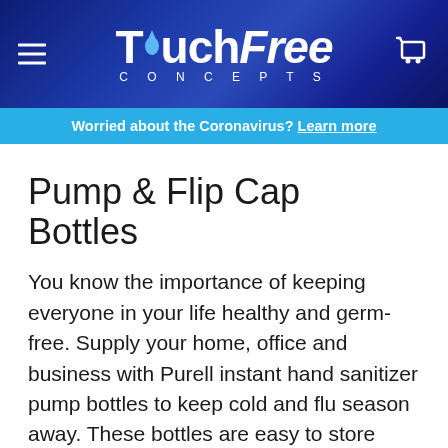TouchFree CONCEPTS
Worried about the Coronavirus? Learn more
Pump & Flip Cap Bottles
You know the importance of keeping everyone in your life healthy and germ-free. Supply your home, office and business with Purell instant hand sanitizer pump bottles to keep cold and flu season away. These bottles are easy to store around your living and work space so they're never far out of reach. The best part is that you can buy them in bulk for wholesale prices so you always have a replacement.